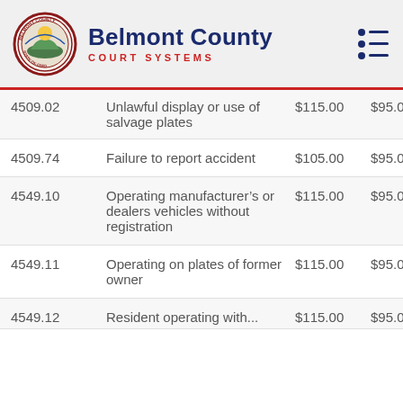Belmont County Court Systems
| Code | Description | Fine | Cost |  |
| --- | --- | --- | --- | --- |
| 4509.02 (partial) | Unlawful display or use of salvage plates | $115.00 (partial) | $95.00 (partial) | $... |
| 4509.74 | Failure to report accident | $105.00 | $95.00 | $1... |
| 4549.10 | Operating manufacturer's or dealers vehicles without registration | $115.00 | $95.00 | $2... |
| 4549.11 | Operating on plates of former owner | $115.00 | $95.00 | $2... |
| 4549.12 | Resident operating with... | $115.00 | $95.00 | $2... |